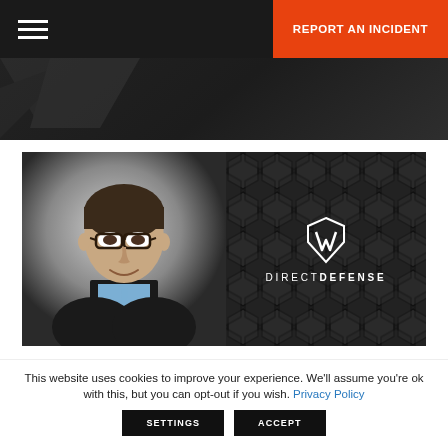REPORT AN INCIDENT
[Figure (photo): Website screenshot showing a corporate cybersecurity firm page. Left half shows a professional headshot of a middle-aged man in a dark suit with blue tie and glasses. Right half shows the DirectDefense logo (stylized M/shield icon) on a dark hexagonal pattern background with the text DIRECTDEFENSE.]
This website uses cookies to improve your experience. We'll assume you're ok with this, but you can opt-out if you wish. Privacy Policy
SETTINGS   ACCEPT